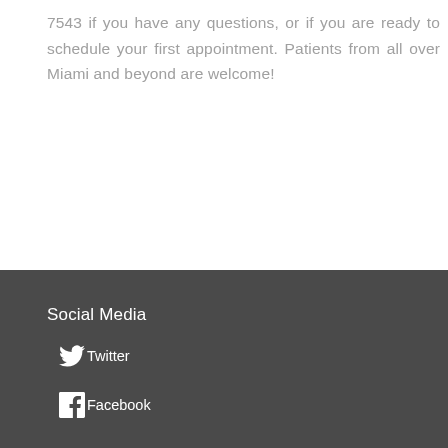7543 if you have any questions, or if you are ready to schedule your first appointment. Patients from all over Miami and beyond are welcome!
Social Media
Twitter
Facebook